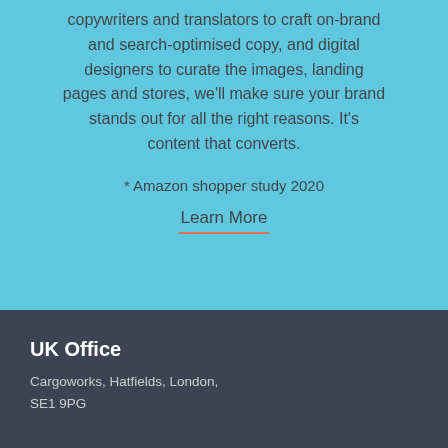copywriters and translators to craft on-brand and search-optimised copy, and digital designers to curate the images, landing pages and stores, we'll make sure your brand stands out for all the right reasons. It's content that converts.
* Amazon shopper study 2020
Learn More
UK Office
Cargoworks, Hatfields, London, SE1 9PG